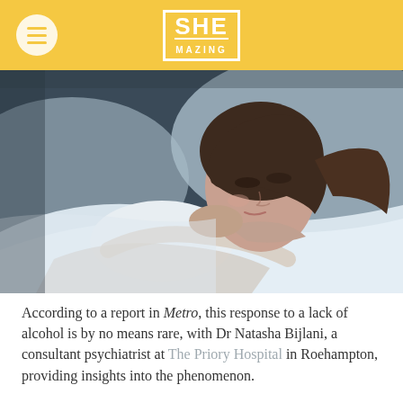SHE MAZING
[Figure (photo): Young woman lying in bed on white pillows and sheets, looking tired or unwell, wearing a white sleeveless top, with dark hair, low-light bedroom setting.]
According to a report in Metro, this response to a lack of alcohol is by no means rare, with Dr Natasha Bijlani, a consultant psychiatrist at The Priory Hospital in Roehampton, providing insights into the phenomenon.